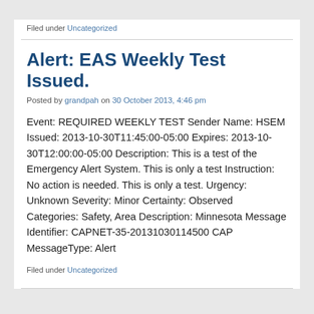Filed under Uncategorized
Alert: EAS Weekly Test Issued.
Posted by grandpah on 30 October 2013, 4:46 pm
Event: REQUIRED WEEKLY TEST Sender Name: HSEM Issued: 2013-10-30T11:45:00-05:00 Expires: 2013-10-30T12:00:00-05:00 Description: This is a test of the Emergency Alert System. This is only a test Instruction: No action is needed. This is only a test. Urgency: Unknown Severity: Minor Certainty: Observed Categories: Safety, Area Description: Minnesota Message Identifier: CAPNET-35-20131030114500 CAP MessageType: Alert
Filed under Uncategorized